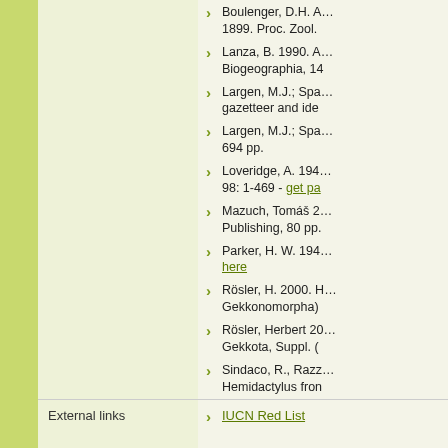Boulenger, D.H. A... 1899. Proc. Zool.
Lanza, B. 1990. A... Biogeographia, 14
Largen, M.J.; Spa... gazetteer and ide
Largen, M.J.; Spa... 694 pp.
Loveridge, A. 194... 98: 1-469 - get pa
Mazuch, Tomáš 2... Publishing, 80 pp.
Parker, H. W. 194... here
Rösler, H. 2000. H... Gekkonomorpha)
Rösler, Herbert 20... Gekkota, Suppl. (
Sindaco, R., Razz... Hemidactylus fron
Šmid, Jiří; Salvad... Out of Arabia: A C... Genus Hemidacty
External links
IUCN Red List